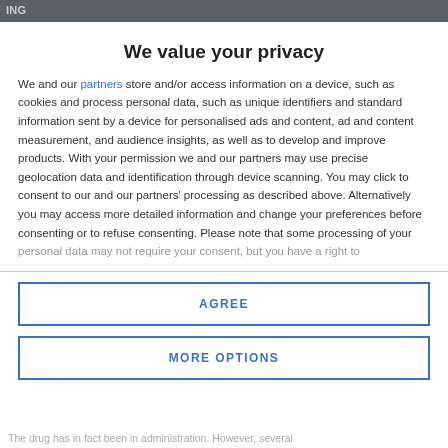ING
We value your privacy
We and our partners store and/or access information on a device, such as cookies and process personal data, such as unique identifiers and standard information sent by a device for personalised ads and content, ad and content measurement, and audience insights, as well as to develop and improve products. With your permission we and our partners may use precise geolocation data and identification through device scanning. You may click to consent to our and our partners' processing as described above. Alternatively you may access more detailed information and change your preferences before consenting or to refuse consenting. Please note that some processing of your personal data may not require your consent, but you have a right to
AGREE
MORE OPTIONS
The drug has in fact been in administration. However, several...